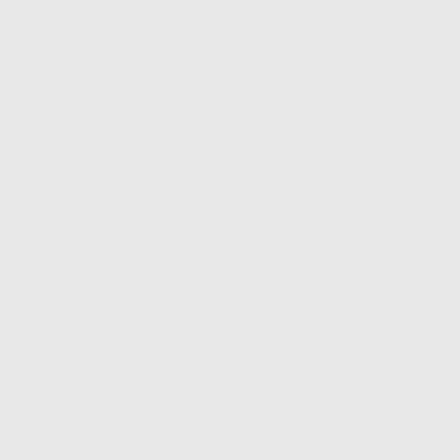reading Winter Heating for Your Recreation